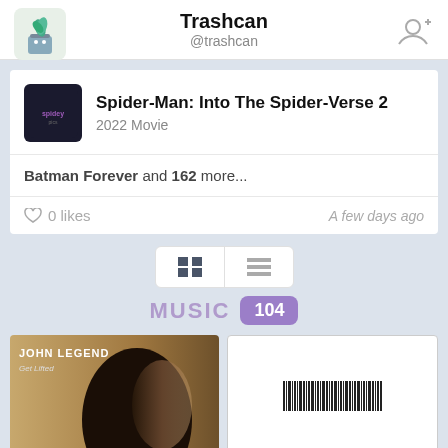Trashcan @trashcan
Spider-Man: Into The Spider-Verse 2 2022 Movie
Batman Forever and 162 more...
0 likes  A few days ago
[Figure (screenshot): View toggle buttons: grid view and list view icons]
MUSIC 104
[Figure (photo): John Legend Get Lifted album cover - profile of John Legend's face]
[Figure (photo): White album cover with barcode]